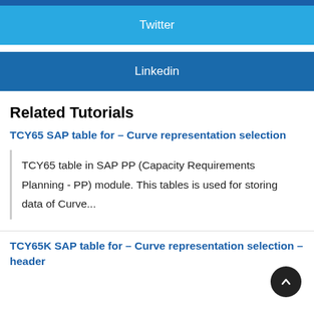[Figure (other): Dark blue top bar strip]
Twitter
Linkedin
Related Tutorials
TCY65 SAP table for – Curve representation selection
TCY65 table in SAP PP (Capacity Requirements Planning - PP) module. This tables is used for storing data of Curve...
TCY65K SAP table for – Curve representation selection – header